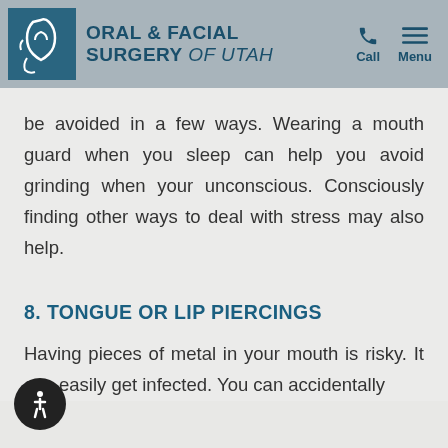ORAL & FACIAL SURGERY of Utah | Call | Menu
be avoided in a few ways. Wearing a mouth guard when you sleep can help you avoid grinding when your unconscious. Consciously finding other ways to deal with stress may also help.
8. TONGUE OR LIP PIERCINGS
Having pieces of metal in your mouth is risky. It can easily get infected. You can accidentally